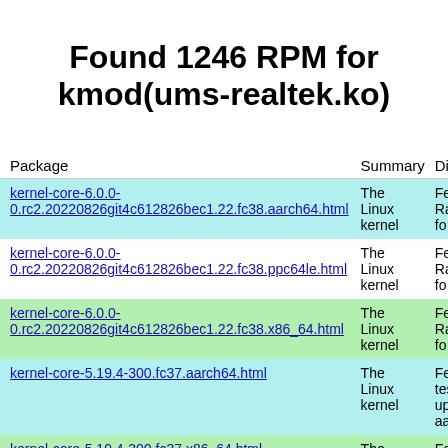Found 1246 RPM for kmod(ums-realtek.ko)
| Package | Summary | Di |
| --- | --- | --- |
| kernel-core-6.0.0-0.rc2.20220826git4c612826bec1.22.fc38.aarch64.html | The Linux kernel | Fe Ra fo |
| kernel-core-6.0.0-0.rc2.20220826git4c612826bec1.22.fc38.ppc64le.html | The Linux kernel | Fe Ra fo |
| kernel-core-6.0.0-0.rc2.20220826git4c612826bec1.22.fc38.x86_64.html | The Linux kernel | Fe Ra fo |
| kernel-core-5.19.4-300.fc37.aarch64.html | The Linux kernel | Fe tes up aa |
| kernel-core-5.19.4-300.fc37.x86_64.html | The Linux kernel | Fe tes up x8 |
| kernel-core-5.17.12-100.fc34.aarch64.html | The Linux kernel | Fe up |